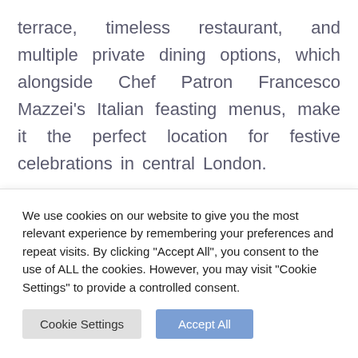terrace, timeless restaurant, and multiple private dining options, which alongside Chef Patron Francesco Mazzei's Italian feasting menus, make it the perfect location for festive celebrations in central London.

For New Year's Eve, Sartoria is inviting guests to ring in 2022 with a five-course Italian
We use cookies on our website to give you the most relevant experience by remembering your preferences and repeat visits. By clicking "Accept All", you consent to the use of ALL the cookies. However, you may visit "Cookie Settings" to provide a controlled consent.